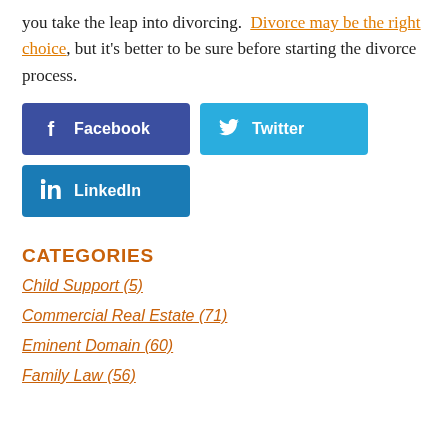you take the leap into divorcing. Divorce may be the right choice, but it's better to be sure before starting the divorce process.
[Figure (other): Social share buttons: Facebook, Twitter, LinkedIn]
CATEGORIES
Child Support (5)
Commercial Real Estate (71)
Eminent Domain (60)
Family Law (56)